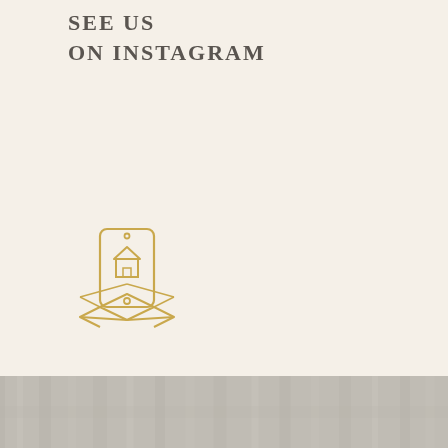SEE US
ON INSTAGRAM
[Figure (illustration): Gold/amber colored line art icon showing a smartphone with a house/home icon inside an open box, suggesting a real estate or delivery app icon]
FOLLOW US
ON TWITTER
[Figure (photo): Bottom strip showing a blurred or textured gray/silver image, possibly a building exterior or architectural detail]